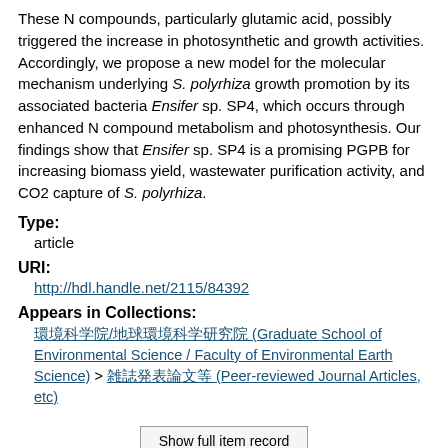These N compounds, particularly glutamic acid, possibly triggered the increase in photosynthetic and growth activities. Accordingly, we propose a new model for the molecular mechanism underlying S. polyrhiza growth promotion by its associated bacteria Ensifer sp. SP4, which occurs through enhanced N compound metabolism and photosynthesis. Our findings show that Ensifer sp. SP4 is a promising PGPB for increasing biomass yield, wastewater purification activity, and CO2 capture of S. polyrhiza.
Type:
article
URI:
http://hdl.handle.net/2115/84392
Appears in Collections:
環境科学院/地球環境科学研究院 (Graduate School of Environmental Science / Faculty of Environmental Earth Science) > 雑誌発表論文等 (Peer-reviewed Journal Articles, etc)
Show full item record
Export metadata: RefMan RIS Export
OAI-PMU (junii2 - inspec 1.0)